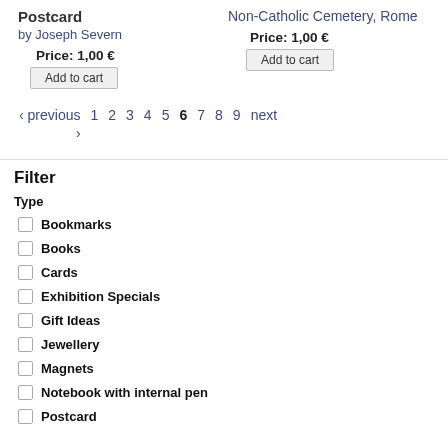Postcard
by Joseph Severn
Price: 1,00 €
Add to cart
Non-Catholic Cemetery, Rome
Price: 1,00 €
Add to cart
‹ previous  1  2  3  4  5  6  7  8  9  next
›
Filter
Type
Bookmarks
Books
Cards
Exhibition Specials
Gift Ideas
Jewellery
Magnets
Notebook with internal pen
Postcard